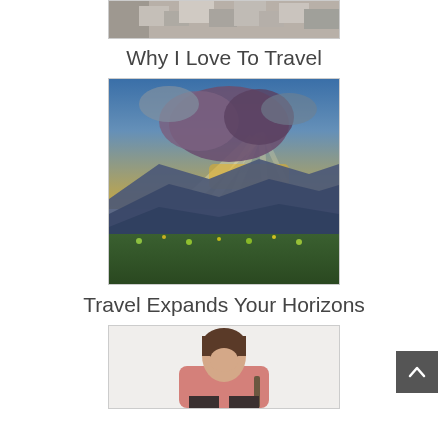[Figure (photo): Top portion of rocks/stones image, partially cropped at top of page]
Why I Love To Travel
[Figure (photo): Dramatic mountain landscape with sunbeams breaking through dark clouds, golden light over blue mountain ridges with wildflower meadow in foreground]
Travel Expands Your Horizons
[Figure (photo): Woman with short brown hair wearing pink sweater, smiling and looking up, sitting with a bag, partially cropped at bottom of page]